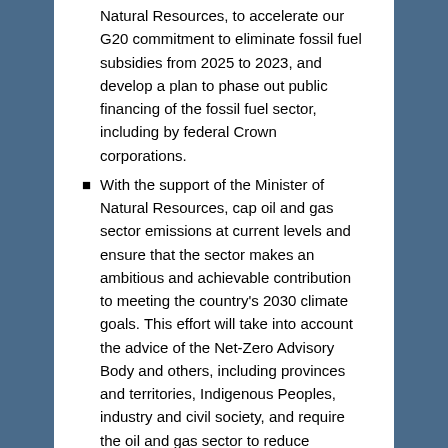Natural Resources, to accelerate our G20 commitment to eliminate fossil fuel subsidies from 2025 to 2023, and develop a plan to phase out public financing of the fossil fuel sector, including by federal Crown corporations.
With the support of the Minister of Natural Resources, cap oil and gas sector emissions at current levels and ensure that the sector makes an ambitious and achievable contribution to meeting the country's 2030 climate goals. This effort will take into account the advice of the Net-Zero Advisory Body and others, including provinces and territories, Indigenous Peoples, industry and civil society, and require the oil and gas sector to reduce emissions at a pace and on a scale needed to align with the achievement of net-zero emissions by 2050, with five-year targets to stay on track.
Make progress on methane emission reductions by developing a plan to reduce emissions across the broader Canadian economy consistent with the Global Methane Pledge and require through